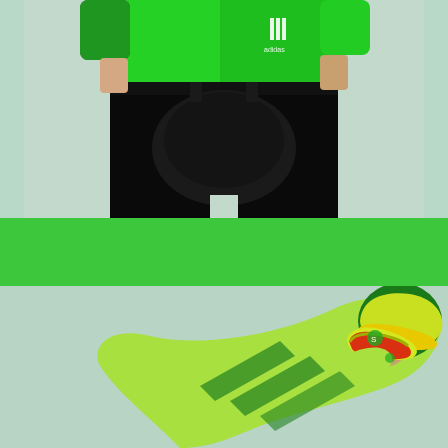[Figure (photo): Close-up of a person wearing a green Adidas cycling jersey and black cycling shorts/bibs with a padded chamois. The person is posing against a light mint/sage green background. Only the torso and lower body are visible.]
[Figure (photo): A cyclist in an aerodynamic tuck position wearing a bright green and yellow speed suit with dark green diagonal stripes on the back. The cyclist wears a green and yellow aerodynamic helmet cap and goggles with a red/orange lens. Shot against a light mint green background.]